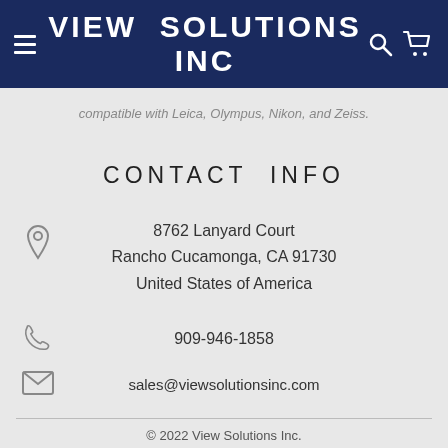VIEW SOLUTIONS INC
compatible with Leica, Olympus, Nikon, and Zeiss.
CONTACT INFO
8762 Lanyard Court
Rancho Cucamonga, CA 91730
United States of America
909-946-1858
sales@viewsolutionsinc.com
© 2022 View Solutions Inc.